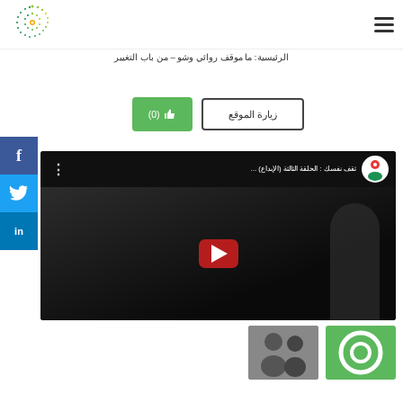Website header with hamburger menu and logo
الرئيسية: ما موقف روائي وشو – من باب التغيير
[Figure (other): Green like button showing thumbs up icon and count (0), and Visit Website button]
[Figure (other): YouTube video thumbnail showing Arabic title: ثقف نفسك : الحلقة الثالثة (الإبداع) with play button overlay]
[Figure (other): Two small thumbnail images at the bottom of the page]